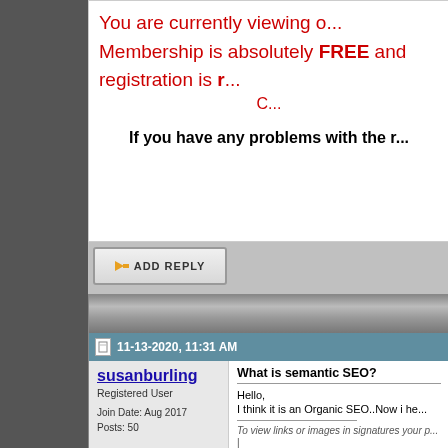You are currently viewing o... Membership is absolutely FREE and registration is r... C...
If you have any problems with the r...
[Figure (screenshot): Add Reply button with orange arrow icon]
11-13-2020, 11:31 AM
susanburling
Registered User
Join Date: Aug 2017
Posts: 50
What is semantic SEO?
Hello,
I think it is an Organic SEO..Now i he...
To view links or images in signatures your p...
|
To view links or images in signatures your p...
|
To view links or images in signatures your p...
|
To view links or images in signatures your p...
|
To view links or images in signatures your p...
|
To view links or images in signatures your p...